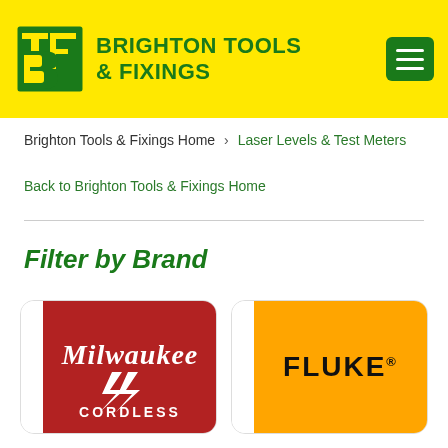Brighton Tools & Fixings
Brighton Tools & Fixings Home > Laser Levels & Test Meters
Back to Brighton Tools & Fixings Home
Filter by Brand
[Figure (logo): Milwaukee Cordless brand logo - red background with white cursive text]
[Figure (logo): Fluke brand logo - orange/yellow background with bold black FLUKE text]